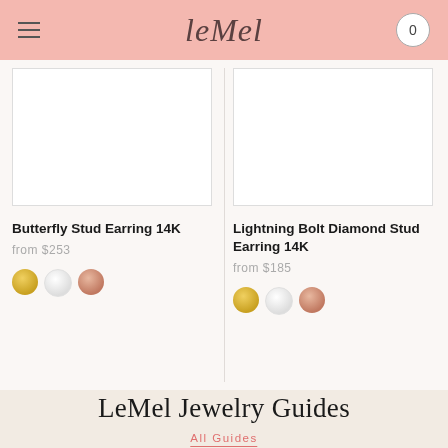leMel — navigation header with menu and cart
[Figure (photo): Butterfly Stud Earring 14K product image (white background)]
Butterfly Stud Earring 14K
from $253
[Figure (photo): Color swatches: yellow gold, white gold, rose gold]
[Figure (photo): Lightning Bolt Diamond Stud Earring 14K product image (white background)]
Lightning Bolt Diamond Stud Earring 14K
from $185
[Figure (photo): Color swatches: yellow gold, white gold, rose gold]
LeMel Jewelry Guides
All Guides